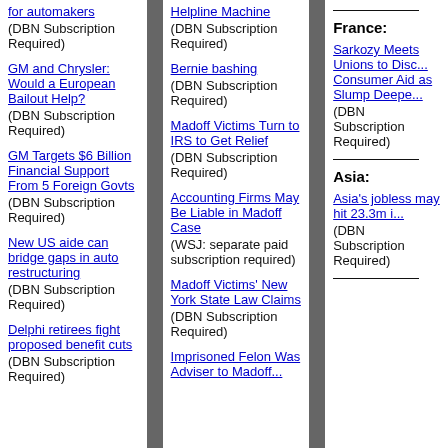for automakers (DBN Subscription Required)
GM and Chrysler: Would a European Bailout Help? (DBN Subscription Required)
GM Targets $6 Billion Financial Support From 5 Foreign Govts (DBN Subscription Required)
New US aide can bridge gaps in auto restructuring (DBN Subscription Required)
Delphi retirees fight proposed benefit cuts (DBN Subscription Required)
Helpline Machine (DBN Subscription Required)
Bernie bashing (DBN Subscription Required)
Madoff Victims Turn to IRS to Get Relief (DBN Subscription Required)
Accounting Firms May Be Liable in Madoff Case (WSJ: separate paid subscription required)
Madoff Victims' New York State Law Claims (DBN Subscription Required)
Imprisoned Felon Was Adviser to Madoff...
France:
Sarkozy Meets Unions to Discuss Consumer Aid as Slump Deepens (DBN Subscription Required)
Asia:
Asia's jobless may hit 23.3m in... (DBN Subscription Required)